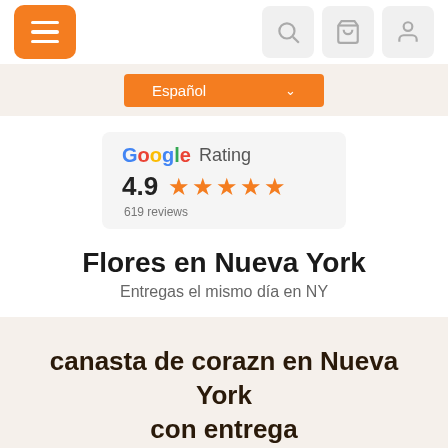[Figure (screenshot): Navigation bar with orange hamburger menu button on left and three icon buttons (search, cart, user) on right]
[Figure (screenshot): Orange language selector dropdown showing 'Español' with chevron]
[Figure (infographic): Google Rating badge showing 4.9 stars with 619 reviews]
Flores en Nueva York
Entregas el mismo día en NY
canasta de corazn en Nueva York con entrega